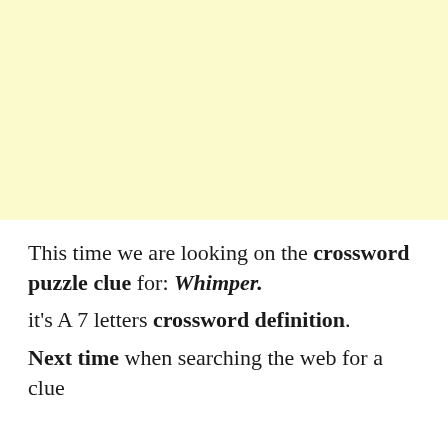[Figure (other): Large pale yellow background block filling the top portion of the page]
This time we are looking on the crossword puzzle clue for: Whimper.
it's A 7 letters crossword definition.
Next time when searching the web for a clue